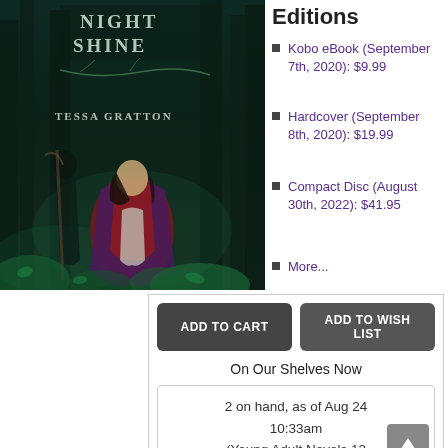[Figure (illustration): Book cover for 'Night Shine' by Tessa Gratton. Dark fantasy artwork showing a figure in red/purple cloak in a forest with dark trees. Title text visible at top.]
Editions
Kobo eBook (September 7th, 2020): $9.99
Hardcover (September 8th, 2020): $19.99
Compact Disc (August 30th, 2022): $41.95
More...
ADD TO CART
ADD TO WISH LIST
On Our Shelves Now
2 on hand, as of Aug 24 10:33am (Young Adult Novels 12